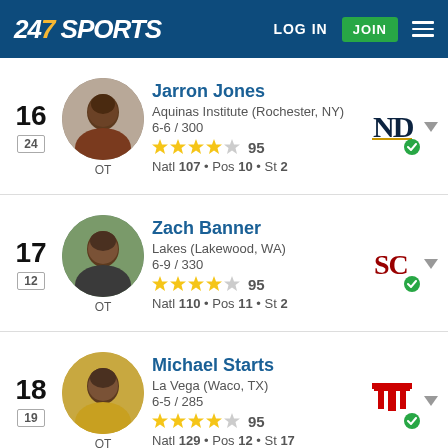247 SPORTS | LOG IN | JOIN
16 | 24 | Jarron Jones | Aquinas Institute (Rochester, NY) | 6-6 / 300 | 95 | Natl 107 • Pos 10 • St 2 | OT | Notre Dame
17 | 12 | Zach Banner | Lakes (Lakewood, WA) | 6-9 / 330 | 95 | Natl 110 • Pos 11 • St 2 | OT | USC
18 | 19 | Michael Starts | La Vega (Waco, TX) | 6-5 / 285 | 95 | Natl 129 • Pos 12 • St 17 | OT | Texas Tech